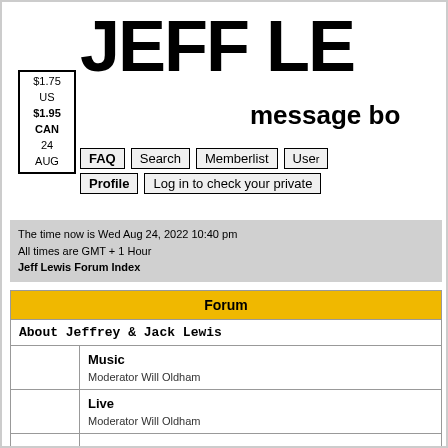[Figure (other): Price box showing $1.75 US, $1.95 CAN, 24 AUG]
JEFF LE...
message bo...
FAQ  Search  Memberlist  Use...  Profile  Log in to check your private...
The time now is Wed Aug 24, 2022 10:40 pm
All times are GMT + 1 Hour
Jeff Lewis Forum Index
| Forum |
| --- |
| About Jeffrey & Jack Lewis |
| Music
Moderator Will Oldham |
| Live
Moderator Will Oldham |